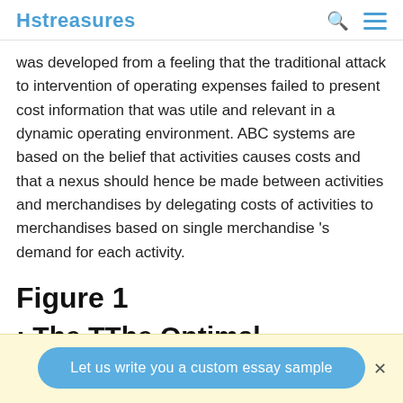Hstreasures
was developed from a feeling that the traditional attack to intervention of operating expenses failed to present cost information that was utile and relevant in a dynamic operating environment. ABC systems are based on the belief that activities causes costs and that a nexus should hence be made between activities and merchandises by delegating costs of activities to merchandises based on single merchandise 's demand for each activity.
Figure 1
: The TThe Optimal
Let us write you a custom essay sample